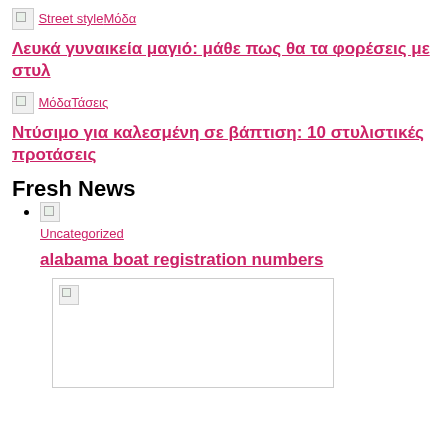[Figure (other): Broken image thumbnail]
Street style Μόδα
Λευκά γυναικεία μαγιό: μάθε πως θα τα φορέσεις με στυλ
[Figure (other): Broken image thumbnail]
Μόδα Τάσεις
Ντύσιμο για καλεσμένη σε βάπτιση: 10 στυλιστικές προτάσεις
Fresh News
[Figure (other): Broken image thumbnail small]
Uncategorized
alabama boat registration numbers
[Figure (other): Large broken image placeholder]